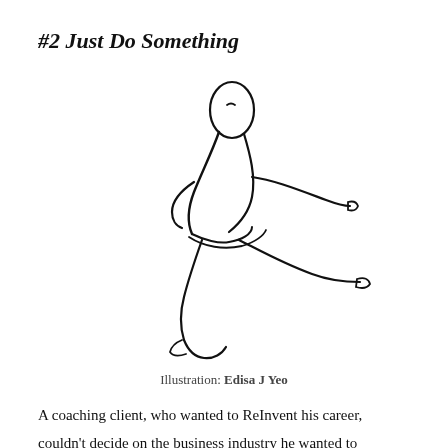#2 Just Do Something
[Figure (illustration): Line drawing illustration of a person jumping or leaping with one arm extended forward and one leg kicked out, in a dynamic action pose]
Illustration: Edisa J Yeo
A coaching client, who wanted to ReInvent his career, couldn't decide on the business industry he wanted to work in. He had several ideas. He ReSearched them